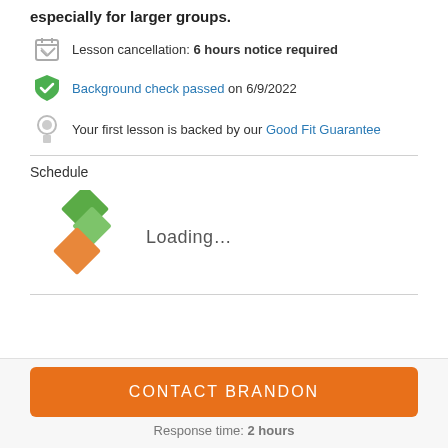especially for larger groups.
Lesson cancellation: 6 hours notice required
Background check passed on 6/9/2022
Your first lesson is backed by our Good Fit Guarantee
Schedule
[Figure (logo): Animated loading spinner logo with green and orange diamond shapes]
Loading...
CONTACT BRANDON
Response time: 2 hours